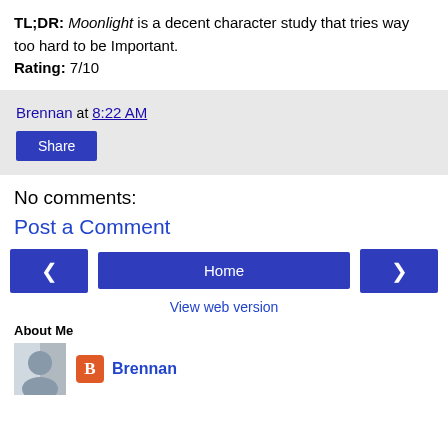TL;DR: Moonlight is a decent character study that tries way too hard to be Important.
Rating: 7/10
Brennan at 8:22 AM
Share
No comments:
Post a Comment
< Home >
View web version
About Me
Brennan